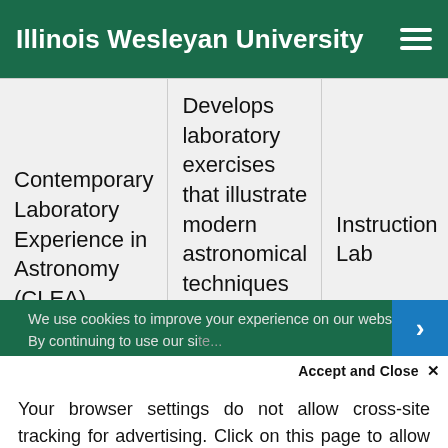Illinois Wesleyan University
|  |  |  |
| --- | --- | --- |
| Contemporary Laboratory Experience in Astronomy (CLEA) | Develops laboratory exercises that illustrate modern astronomical techniques using digital data and color | Instruction Lab |
We use cookies to improve your experience on our website. By continuing to use our si...
Accept and Close ✕
Your browser settings do not allow cross-site tracking for advertising. Click on this page to allow AdRoll to use cross-site tracking to tailor ads to you. Learn more or opt out of this AdRoll tracking by clicking here. This message only appears once.
Music Commutator